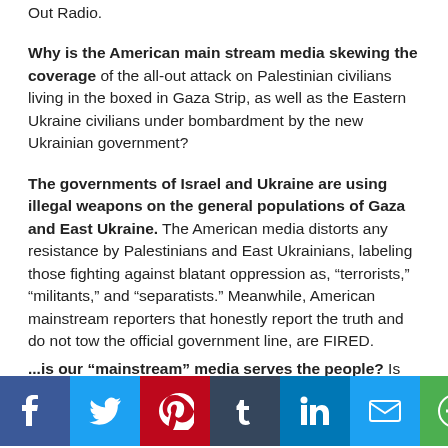Out Radio.
Why is the American main stream media skewing the coverage of the all-out attack on Palestinian civilians living in the boxed in Gaza Strip, as well as the Eastern Ukraine civilians under bombardment by the new Ukrainian government?
The governments of Israel and Ukraine are using illegal weapons on the general populations of Gaza and East Ukraine. The American media distorts any resistance by Palestinians and East Ukrainians, labeling those fighting against blatant oppression as, “terrorists,” “militants,” and “separatists.” Meanwhile, American mainstream reporters that honestly report the truth and do not tow the official government line, are FIRED.
...is our "mainstream" media serves the people? Is this real journalism, or just the noise coming from